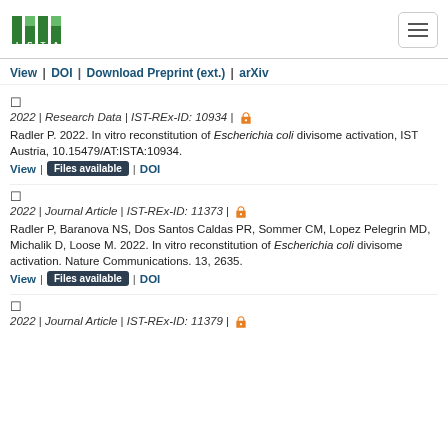ISTA logo and navigation menu
View | DOI | Download Preprint (ext.) | arXiv
2022 | Research Data | IST-REx-ID: 10934 | [open access]
Radler P. 2022. In vitro reconstitution of Escherichia coli divisome activation, IST Austria, 10.15479/AT:ISTA:10934.
View | Files available | DOI
2022 | Journal Article | IST-REx-ID: 11373 | [open access]
Radler P, Baranova NS, Dos Santos Caldas PR, Sommer CM, Lopez Pelegrin MD, Michalik D, Loose M. 2022. In vitro reconstitution of Escherichia coli divisome activation. Nature Communications. 13, 2635.
View | Files available | DOI
2022 | Journal Article | IST-REx-ID: 11379 | [open access]